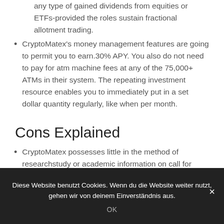any type of gained dividends from equities or ETFs-provided the roles sustain fractional allotment trading.
CryptoMatex's money management features are going to permit you to earn.30% APY. You also do not need to pay for atm machine fees at any of the 75,000+ ATMs in their system. The repeating investment resource enables you to immediately put in a set dollar quantity regularly, like when per month.
Cons Explained
CryptoMatex possesses little in the method of researchstudy or academic information on call for customers. If you really want more than the basic supply
Diese Website benutzt Cookies. Wenn du die Website weiter nutzt, gehen wir von deinem Einverständnis aus.